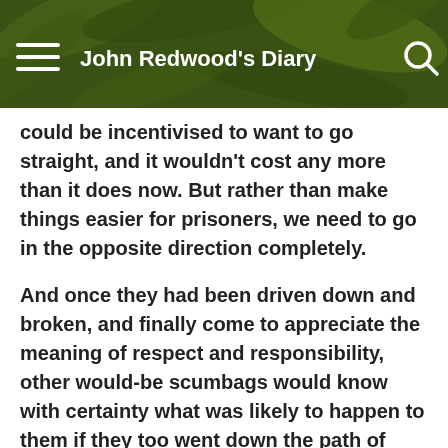John Redwood's Diary
could be incentivised to want to go straight, and it wouldn't cost any more than it does now. But rather than make things easier for prisoners, we need to go in the opposite direction completely.
And once they had been driven down and broken, and finally come to appreciate the meaning of respect and responsibility, other would-be scumbags would know with certainty what was likely to happen to them if they too went down the path of criminality.
The rest of us could then find this world would be a whole lot more decent a place to live in, and that the precious largess generated by our hard-pressed businesses could be redirected to those who deserve it most.